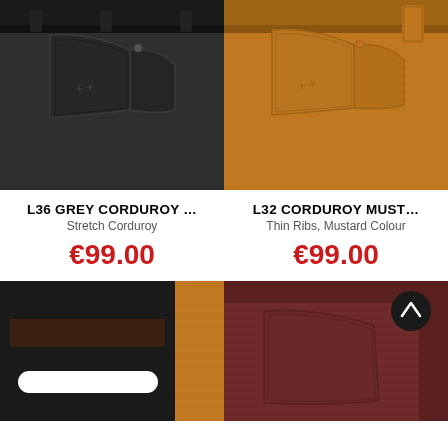[Figure (photo): Close-up of grey corduroy pants waistband and coin pocket]
[Figure (photo): Close-up of mustard corduroy pants waistband and coin pocket]
L36 GREY CORDUROY …
L32 CORDUROY MUST…
Stretch Corduroy
Thin Ribs, Mustard Colour
€99.00
€99.00
[Figure (screenshot): Bottom-left cell showing dark overlay with color swatches and a white bar (UI element)]
[Figure (photo): Close-up of dark red/burgundy corduroy pants with scroll-to-top button overlay]